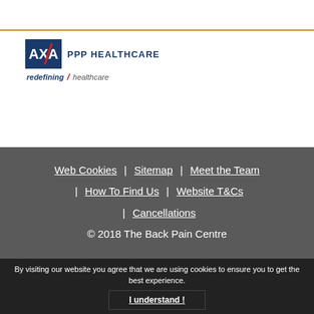[Figure (logo): AXA PPP Healthcare logo with 'redefining / healthcare' tagline]
Web Cookies | Sitemap | Meet the Team | How To Find Us | Website T&Cs | Cancellations
© 2018 The Back Pain Centre
By visiting our website you agree that we are using cookies to ensure you to get the best experience.
I understand !